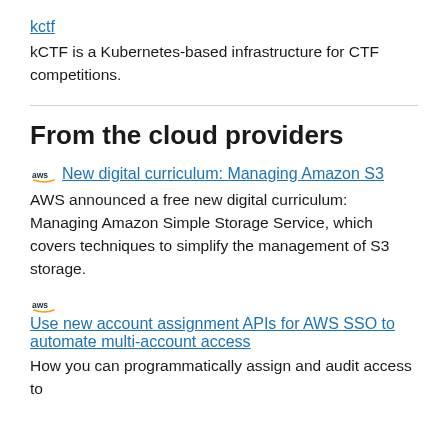kctf
kCTF is a Kubernetes-based infrastructure for CTF competitions.
From the cloud providers
New digital curriculum: Managing Amazon S3
AWS announced a free new digital curriculum: Managing Amazon Simple Storage Service, which covers techniques to simplify the management of S3 storage.
Use new account assignment APIs for AWS SSO to automate multi-account access
How you can programmatically assign and audit access to